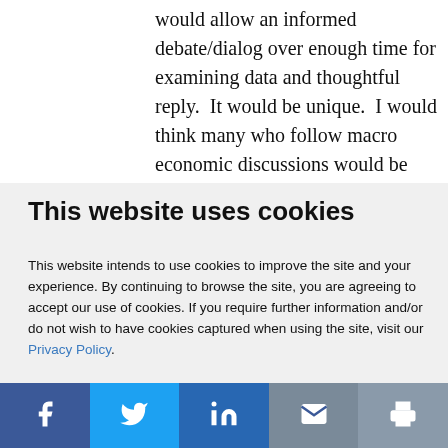would allow an informed debate/dialog over enough time for examining data and thoughtful reply.  It would be unique.  I would think many who follow macro economic discussions would be
This website uses cookies
This website intends to use cookies to improve the site and your experience. By continuing to browse the site, you are agreeing to accept our use of cookies. If you require further information and/or do not wish to have cookies captured when using the site, visit our Privacy Policy.
ACCEPT COOKIES